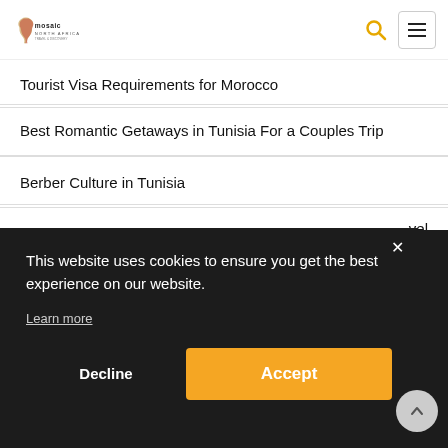Mosaic North Africa - navigation header with logo, search icon, and menu button
Tourist Visa Requirements for Morocco
Best Romantic Getaways in Tunisia For a Couples Trip
Berber Culture in Tunisia
...vel (partially visible, cut off by overlay)
This website uses cookies to ensure you get the best experience on our website.

Learn more
Decline
Accept